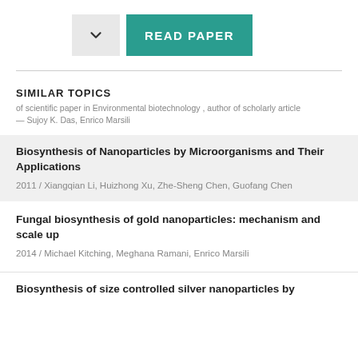[Figure (other): Two buttons: a chevron/dropdown button and a teal READ PAPER button]
SIMILAR TOPICS
of scientific paper in Environmental biotechnology , author of scholarly article — Sujoy K. Das, Enrico Marsili
Biosynthesis of Nanoparticles by Microorganisms and Their Applications
2011 / Xiangqian Li, Huizhong Xu, Zhe-Sheng Chen, Guofang Chen
Fungal biosynthesis of gold nanoparticles: mechanism and scale up
2014 / Michael Kitching, Meghana Ramani, Enrico Marsili
Biosynthesis of size controlled silver nanoparticles by